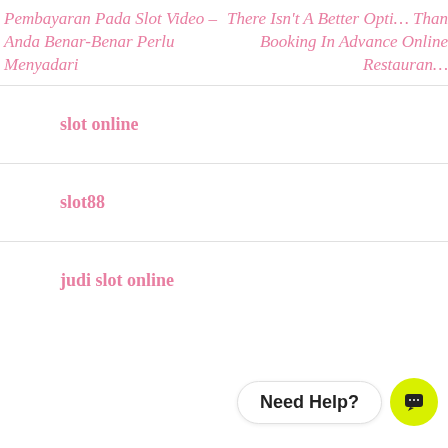Pembayaran Pada Slot Video – Anda Benar-Benar Perlu Menyadari
There Isn't A Better Option Than Booking In Advance Online Restaurant
slot online
slot88
judi slot online
Need Help?